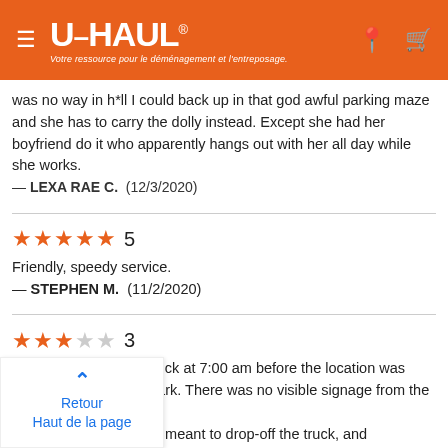U-HAUL — Votre ressource pour le déménagement et l'entreposage.
was no way in h*ll I could back up in that god awful parking maze and she has to carry the dolly instead. Except she had her boyfriend do it who apparently hangs out with her all day while she works.
— LEXA RAE C.  (12/3/2020)
★★★★★ 5
Friendly, speedy service.
— STEPHEN M.  (11/2/2020)
★★★☆☆ 3
We had to return the truck at 7:00 am before the location was open and it was very dark. There was no visible signage from the road, so [place we were meant to drop-off the truck, and ]ys, was a little difficult.
[2020)
Retour
Haut de la page